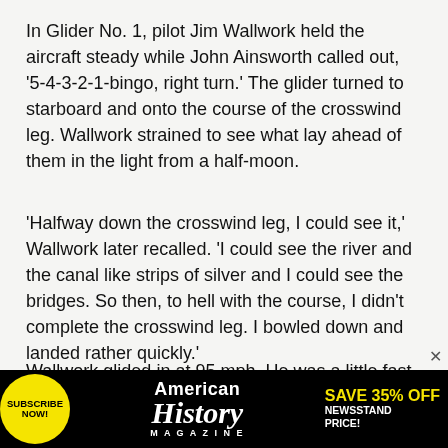In Glider No. 1, pilot Jim Wallwork held the aircraft steady while John Ainsworth called out, '5-4-3-2-1-bingo, right turn.' The glider turned to starboard and onto the course of the crosswind leg. Wallwork strained to see what lay ahead of them in the light from a half-moon.
'Halfway down the crosswind leg, I could see it,' Wallwork later recalled. 'I could see the river and the canal like strips of silver and I could see the bridges. So then, to hell with the course, I didn't complete the crosswind leg. I bowled down and landed rather quickly.'
Wallwork glided in at 95 mph. He was a little fast,
[Figure (other): Advertisement banner for American History Magazine at bottom of page. Black background with yellow circular 'Subscribe Now!' badge, American History Magazine logo in white, and 'Save 35% Off Newsstand Price!' text in yellow.]